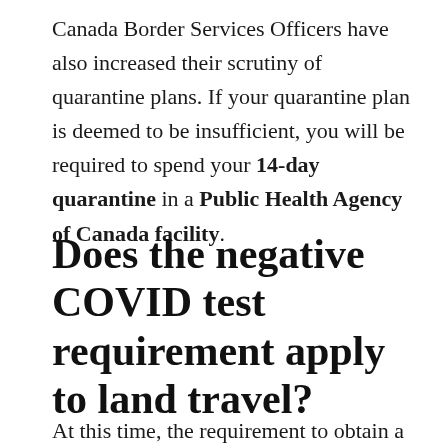Canada Border Services Officers have also increased their scrutiny of quarantine plans. If your quarantine plan is deemed to be insufficient, you will be required to spend your 14-day quarantine in a Public Health Agency of Canada facility.
Does the negative COVID test requirement apply to land travel?
At this time, the requirement to obtain a negative